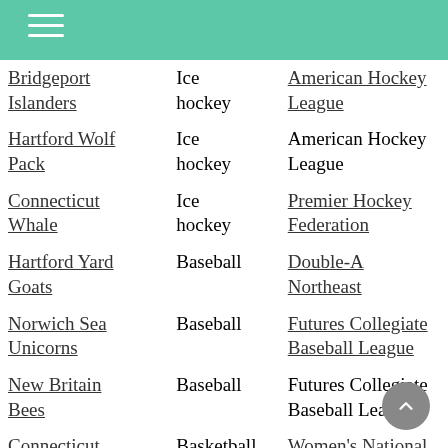Navigation menu header bar
| Team | Sport | League |
| --- | --- | --- |
| Bridgeport Islanders | Ice hockey | American Hockey League |
| Hartford Wolf Pack | Ice hockey | American Hockey League |
| Connecticut Whale | Ice hockey | Premier Hockey Federation |
| Hartford Yard Goats | Baseball | Double-A Northeast |
| Norwich Sea Unicorns | Baseball | Futures Collegiate Baseball League |
| New Britain Bees | Baseball | Futures Collegiate Baseball League |
| Connecticut | Basketball | Women's National Basketball |